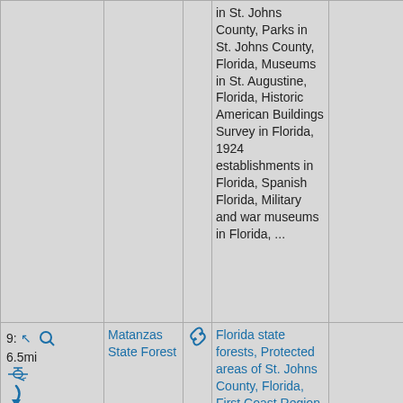|  | Name | Link | Categories |  |
| --- | --- | --- | --- | --- |
|  |  |  | in St. Johns County, Parks in St. Johns County, Florida, Museums in St. Augustine, Florida, Historic American Buildings Survey in Florida, 1924 establishments in Florida, Spanish Florida, Military and war museums in Florida, ... |  |
| 9: 6.5mi [icons] | Matanzas State Forest | [link icon] | Florida state forests, Protected areas of St. Johns County, Florida, First Coast Region, Florida geography stubs, Hidden categories: |  |